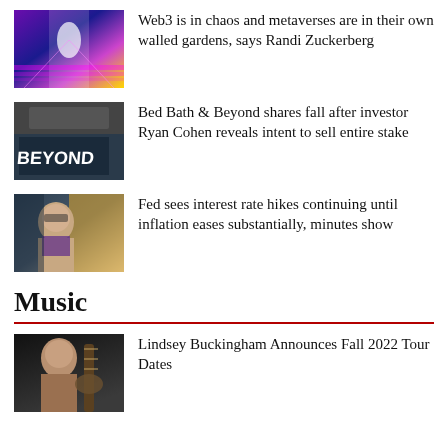[Figure (photo): Colorful metaverse/Web3 corridor with neon lights]
Web3 is in chaos and metaverses are in their own walled gardens, says Randi Zuckerberg
[Figure (photo): Bed Bath & Beyond store exterior with large sign]
Bed Bath & Beyond shares fall after investor Ryan Cohen reveals intent to sell entire stake
[Figure (photo): Federal Reserve Chairman speaking at podium]
Fed sees interest rate hikes continuing until inflation eases substantially, minutes show
Music
[Figure (photo): Lindsey Buckingham portrait with guitar]
Lindsey Buckingham Announces Fall 2022 Tour Dates